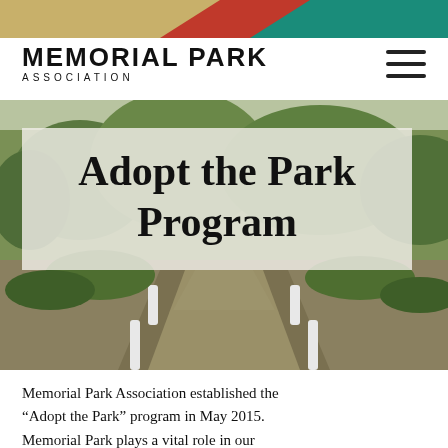[Figure (illustration): Decorative diagonal color bands at top of page: tan/gold, red, teal/green]
MEMORIAL PARK
ASSOCIATION
[Figure (illustration): Hamburger menu icon (three horizontal lines)]
[Figure (photo): Outdoor park scene with a paved walkway lined by bollards, trees and shrubs in the background, photographed during daytime]
Adopt the Park Program
Memorial Park Association established the “Adopt the Park” program in May 2015. Memorial Park plays a vital role in our